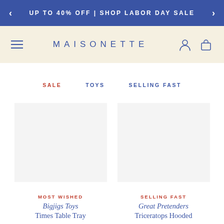UP TO 40% OFF | SHOP LABOR DAY SALE
MAISONETTE
SALE   TOYS   SELLING FAST
[Figure (other): Two product image placeholders (blank white/gray boxes)]
MOST WISHED
SELLING FAST
Bigjigs Toys
Great Pretenders
Times Table Tray
Triceratops Hooded